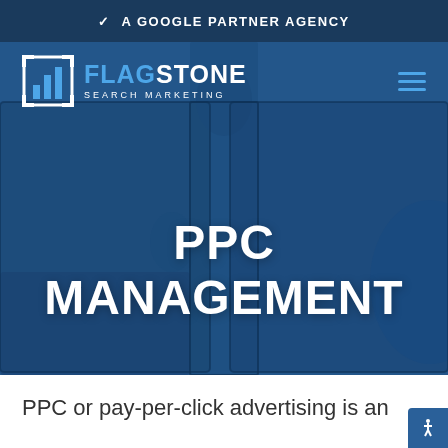✓ A GOOGLE PARTNER AGENCY
[Figure (screenshot): Flagstone Search Marketing logo with icon and hamburger menu on blue hero background with puzzle piece illustration]
PPC MANAGEMENT
PPC or pay-per-click advertising is an